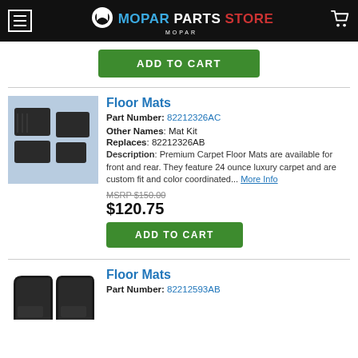MOPAR PARTS STORE
[Figure (other): Green ADD TO CART button at top of page]
[Figure (photo): Photo of black premium carpet floor mats set for front and rear on blue background]
Floor Mats
Part Number: 82212326AC
Other Names: Mat Kit
Replaces: 82212326AB
Description: Premium Carpet Floor Mats are available for front and rear. They feature 24 ounce luxury carpet and are custom fit and color coordinated... More Info
MSRP $150.00
$120.75
[Figure (other): Green ADD TO CART button]
[Figure (photo): Photo of two black floor mats]
Floor Mats
Part Number: 82212593AB